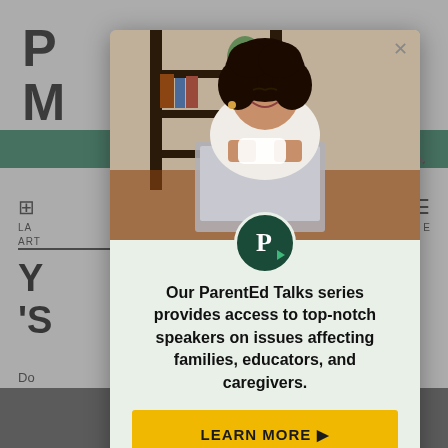[Figure (screenshot): Background website page partially visible behind modal overlay, showing partial logo letters P and M, green navigation bar, article navigation labels LA and ART, large bold headline starting with Y and S characters, partial article text and byline, bottom image strip.]
[Figure (photo): Modal popup with photo of a smiling young Black woman with curly hair, holding a coffee mug, leaning over a laptop computer at a desk.]
Our ParentEd Talks series provides access to top-notch speakers on issues affecting families, educators, and caregivers.
LEARN MORE ▶
NO, THANKS.